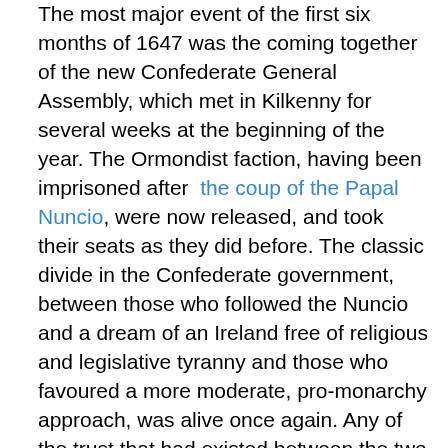The most major event of the first six months of 1647 was the coming together of the new Confederate General Assembly, which met in Kilkenny for several weeks at the beginning of the year. The Ormondist faction, having been imprisoned after the coup of the Papal Nuncio, were now released, and took their seats as they did before. The classic divide in the Confederate government, between those who followed the Nuncio and a dream of an Ireland free of religious and legislative tyranny and those who favoured a more moderate, pro-monarchy approach, was alive once again. Any of the trust that had existed between the two sides had now disappeared, and the debacle before Dublin that Rinuccini oversaw had damaged his standing immensely, but far from totally.
Thus, the assembly took on the appearance of a refutation from many of the Ormondists, defending their role as